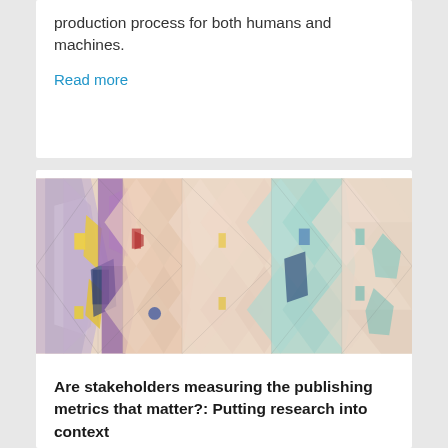production process for both humans and machines.
Read more
[Figure (illustration): Colorful abstract geometric pattern with overlapping diamond and triangular shapes in pastel colors including pink, teal, purple, yellow, and peach tones arranged in a mosaic/stained-glass style]
Are stakeholders measuring the publishing metrics that matter?: Putting research into context